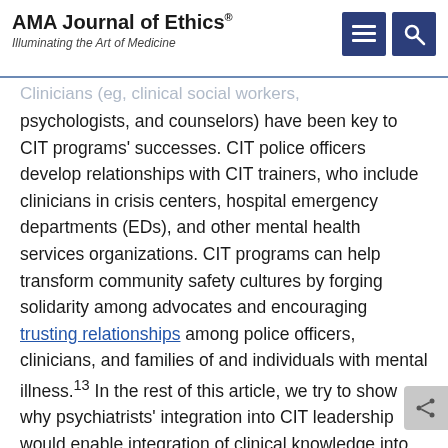AMA Journal of Ethics® Illuminating the Art of Medicine
Clinicians (eg, clinical social workers, psychologists, and counselors) have been key to CIT programs' successes. CIT police officers develop relationships with CIT trainers, who include clinicians in crisis centers, hospital emergency departments (EDs), and other mental health services organizations. CIT programs can help transform community safety cultures by forging solidarity among advocates and encouraging trusting relationships among police officers, clinicians, and families of and individuals with mental illness.13 In the rest of this article, we try to show why psychiatrists' integration into CIT leadership would enable integration of clinical knowledge into CIT training and help more fully integrate CIT